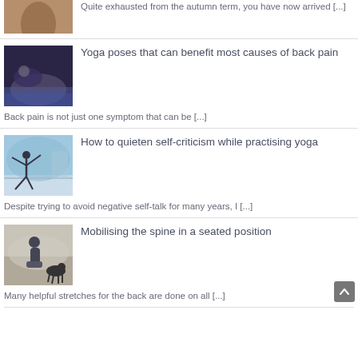[Figure (photo): Partial thumbnail of a person, cropped at top of page]
Quite exhausted from the autumn term, you have now arrived [...]
[Figure (photo): Person doing yoga back stretch on a blue mat in a dark room]
Yoga poses that can benefit most causes of back pain
Back pain is not just one symptom that can be [...]
[Figure (photo): Person doing a yoga pose on a waterfront promenade]
How to quieten self-criticism while practising yoga
Despite trying to avoid negative self-talk for many years, I [...]
[Figure (photo): Person sitting in a yoga pose on the floor with a dog nearby]
Mobilising the spine in a seated position
Many helpful stretches for the back are done on all [...]